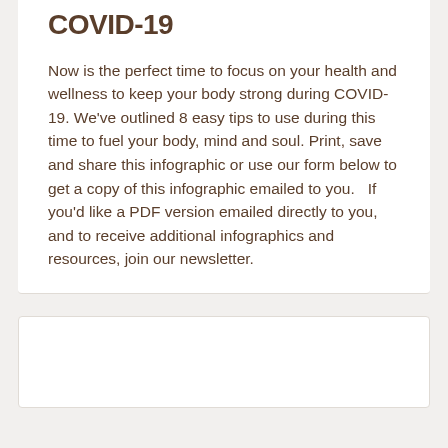COVID-19
Now is the perfect time to focus on your health and wellness to keep your body strong during COVID-19. We've outlined 8 easy tips to use during this time to fuel your body, mind and soul. Print, save and share this infographic or use our form below to get a copy of this infographic emailed to you.   If you'd like a PDF version emailed directly to you, and to receive additional infographics and resources, join our newsletter.